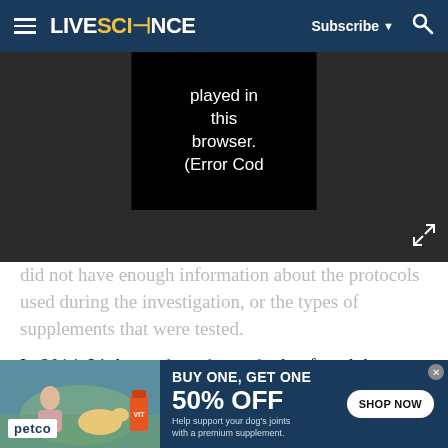LIVESCIENCE | Subscribe | Search
[Figure (screenshot): Video player overlay showing error message: 'played in this browser. (Error Cod']
did not have enough information about the protocols used during the investigation, or the types of supplements that were tested.
In 2014, Little conducted a study that found that about 84 percent of Ginkgo biloba herbal supplements did indeed contain Ginkgo biloba, whereas 16 percent contained only filler ingredients. Little also used DNA barcoding in his investigation, but he looked for a very tiny fragment of DNA, which would usually still be present, even after processing.
[Figure (photo): Petco advertisement banner: BUY ONE, GET ONE 50% OFF. Help support your dog's joints with a premium supplement. SHOP NOW button. Shows woman with golden retriever dog and supplement bottle.]